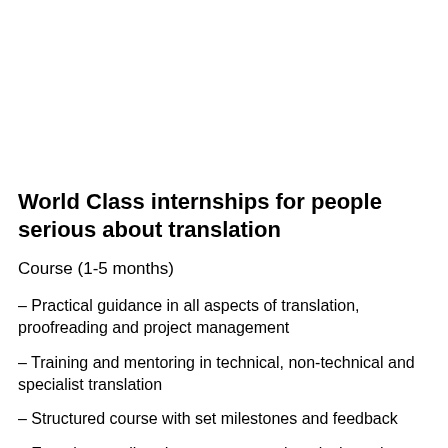World Class internships for people serious about translation
Course (1-5 months)
– Practical guidance in all aspects of translation, proofreading and project management
– Training and mentoring in technical, non-technical and specialist translation
– Structured course with set milestones and feedback
– Experience tailored to your personal goals through spec… projects